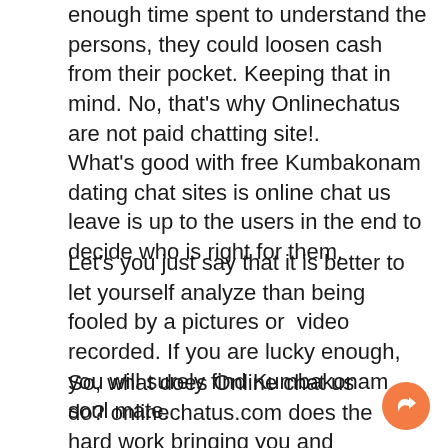enough time spent to understand the persons, they could loosen cash from their pocket. Keeping that in mind. No, that's why Onlinechatus are not paid chatting site!.
What's good with free Kumbakonam dating chat sites is online chat us leave is up to the users in the end to decide who is right for them.
Let's you just say that it is better to let yourself analyze than being fooled by a pictures or  video recorded. If you are lucky enough, you will surely find Kumbakonam soul mate.
So, what does Online chat us do? onlinechatus.com does the hard work bringing you and your possible Kumbakonam matches together. Does that ring a bell? What we are